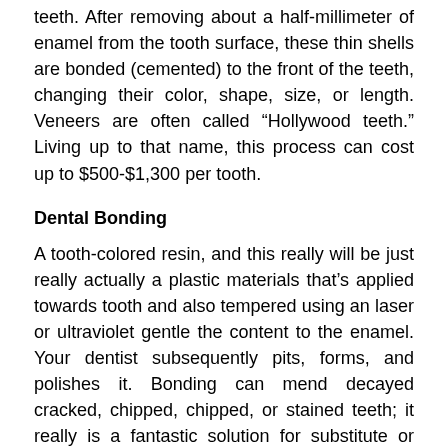teeth. After removing about a half-millimeter of enamel from the tooth surface, these thin shells are bonded (cemented) to the front of the teeth, changing their color, shape, size, or length. Veneers are often called “Hollywood teeth.” Living up to that name, this process can cost up to $500-$1,300 per tooth.
Dental Bonding
A tooth-colored resin, and this really will be just really actually a plastic materials that’s applied towards tooth and also tempered using an laser or ultraviolet gentle the content to the enamel. Your dentist subsequently pits, forms, and polishes it. Bonding can mend decayed cracked, chipped, chipped, or stained teeth; it really is a fantastic solution for substitute or substitute for, either silver or amalgam fillings. Bonding normally can take approximately thirty to $100 to $400 per day, as well as 60 seconds per evening.